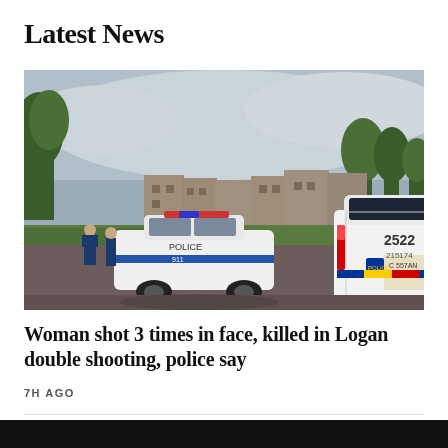Latest News
[Figure (photo): Two Philadelphia police cars (white with blue and red markings) on a residential street. One is a sedan, one is an SUV labeled 2522. Officers visible near vehicles. Brick apartment buildings and trees in background. Overcast sky.]
Woman shot 3 times in face, killed in Logan double shooting, police say
7H AGO
7-year-old boy shot while playing video